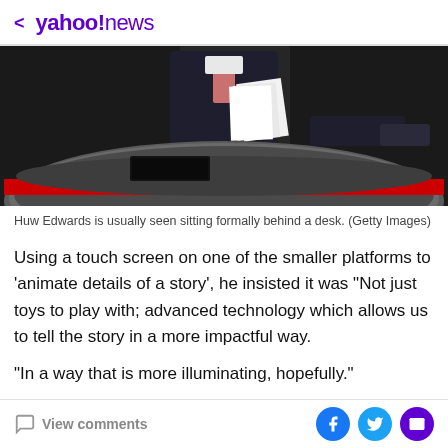< yahoo!news
[Figure (photo): News anchor partially visible behind a curved studio desk, wearing a dark suit with pink tie, holding papers. The desk has a red accent bar. Dark studio background.]
Huw Edwards is usually seen sitting formally behind a desk. (Getty Images)
Using a touch screen on one of the smaller platforms to 'animate details of a story', he insisted it was "Not just toys to play with; advanced technology which allows us to tell the story in a more impactful way.
"In a way that is more illuminating, hopefully."
View comments